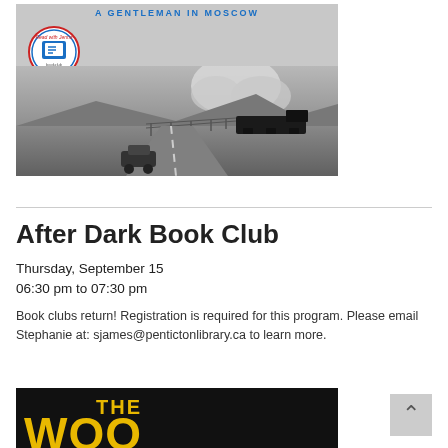[Figure (illustration): Book cover for 'A Gentleman in Moscow' with a circular 'Read with Jenna' badge, showing a black and white scene of a road and steam train with smoke clouds in the background.]
After Dark Book Club
Thursday, September 15
06:30 pm to 07:30 pm
Book clubs return! Registration is required for this program. Please email Stephanie at: sjames@pentictonlibrary.ca to learn more.
[Figure (illustration): Bottom portion of a book cover showing large bold yellow text 'THE WOO' on a black background — partially cropped.]